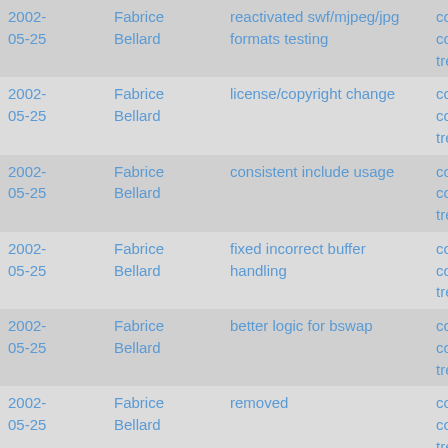| Date | Author | Message | Links |
| --- | --- | --- | --- |
| 2002-05-25 | Fabrice Bellard | reactivated swf/mjpeg/jpg formats testing | commit | commitdiff | tree |
| 2002-05-25 | Fabrice Bellard | license/copyright change | commit | commitdiff | tree |
| 2002-05-25 | Fabrice Bellard | consistent include usage | commit | commitdiff | tree |
| 2002-05-25 | Fabrice Bellard | fixed incorrect buffer handling | commit | commitdiff | tree |
| 2002-05-25 | Fabrice Bellard | better logic for bswap | commit | commitdiff | tree |
| 2002-05-25 | Fabrice Bellard | removed | commit | commitdiff | tree |
| 2002-05-25 | Fabrice Bellard | moved in libavcodec | commit | commitdiff | tree |